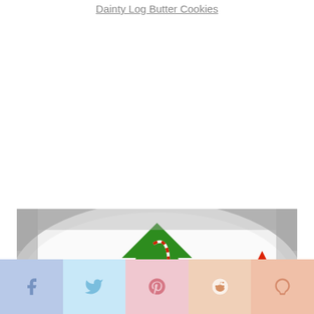Dainty Log Butter Cookies
[Figure (photo): Christmas tree shaped butter cookies decorated with green, red, and white icing and sprinkles on a white plate]
[Figure (infographic): Social media share buttons: Facebook, Twitter, Pinterest, Reddit, Yummly]